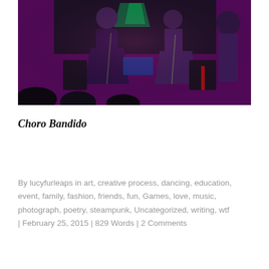[Figure (photo): A live music performance on stage with musicians playing under colorful purple and pink lighting. Multiple performers visible with instruments and microphones, with audience silhouettes in the foreground.]
Choro Bandido
By lucyfurleaps in art, creative process, dancing, education, event, family, fashion, friends, fun, Games, love, music, photograph, poetry, steampunk, Uncategorized, writing, wtf | February 25, 2015 | 829 Words | 2 Comments